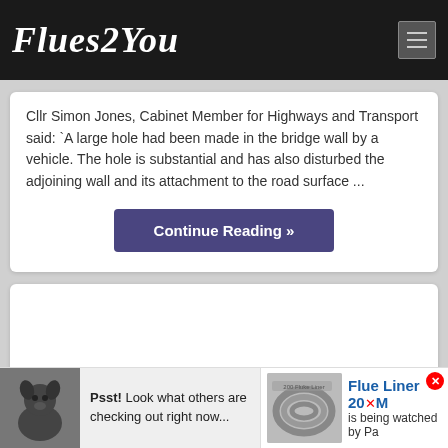Flues2You
Cllr Simon Jones, Cabinet Member for Highways and Transport said: `A large hole had been made in the bridge wall by a vehicle. The hole is substantial and has also disturbed the adjoining wall and its attachment to the road surface ...
Continue Reading »
[Figure (photo): Empty white card area below the Continue Reading button]
[Figure (photo): Dog photo (black pug) in bottom-left advertisement bar]
Psst! Look what others are checking out right now...
[Figure (photo): Flue liner coiled product photo in bottom-right advertisement]
Flue Liner 20M
is being watched by Pa